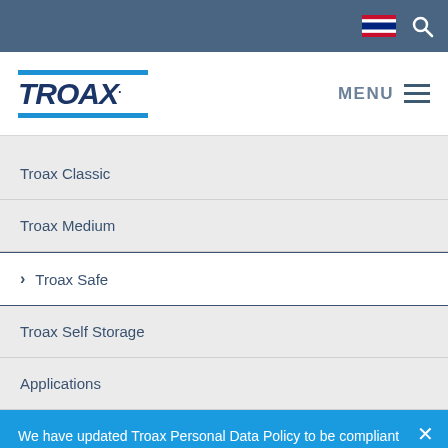Troax website navigation header with Thai flag and search icon
[Figure (logo): Troax company logo with blue horizontal lines above and below the italic bold text TROAX with a dot]
Troax Classic
Troax Medium
> Troax Safe
Troax Self Storage
Applications
We have updated Troax Personal Data Policy to be compliant with GDPR (General Data Protection Regulation).